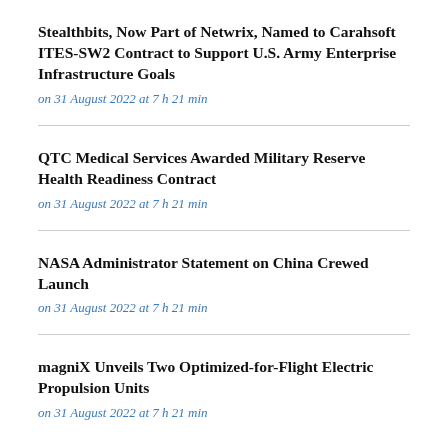Stealthbits, Now Part of Netwrix, Named to Carahsoft ITES-SW2 Contract to Support U.S. Army Enterprise Infrastructure Goals
on 31 August 2022 at 7 h 21 min
QTC Medical Services Awarded Military Reserve Health Readiness Contract
on 31 August 2022 at 7 h 21 min
NASA Administrator Statement on China Crewed Launch
on 31 August 2022 at 7 h 21 min
magniX Unveils Two Optimized-for-Flight Electric Propulsion Units
on 31 August 2022 at 7 h 21 min